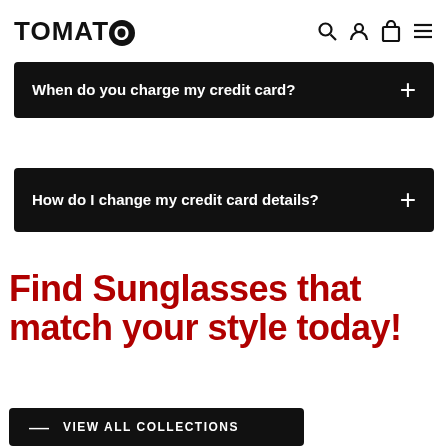TOMATO
When do you charge my credit card?
How do I change my credit card details?
Find Sunglasses that match your style today!
VIEW ALL COLLECTIONS